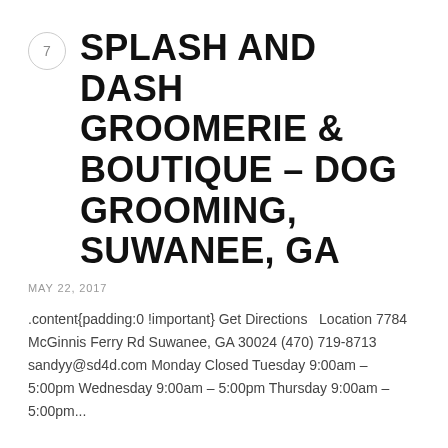SPLASH AND DASH GROOMERIE & BOUTIQUE – DOG GROOMING, SUWANEE, GA
MAY 22, 2017
.content{padding:0 !important} Get Directions  Location 7784 McGinnis Ferry Rd Suwanee, GA 30024 (470) 719-8713 sandyy@sd4d.com Monday Closed Tuesday 9:00am – 5:00pm Wednesday 9:00am – 5:00pm Thursday 9:00am – 5:00pm...